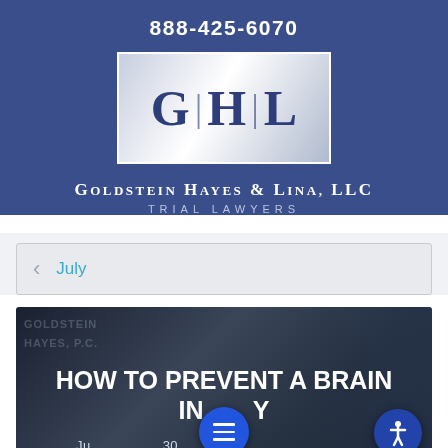888-425-6070
[Figure (logo): GHL logo box with letters G H L separated by vertical bars, inside a rectangular white/silver border]
GOLDSTEIN HAYES & LINA, LLC
TRIAL LAWYERS
July
[Figure (photo): Dark background photo with text overlay: HOW TO PREVENT A BRAIN INJURY, with date partially visible at bottom (July 30)]